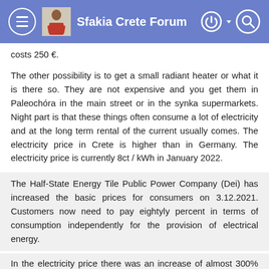Sfakia Crete Forum
costs 250 €.
The other possibility is to get a small radiant heater or what it is there so. They are not expensive and you get them in Paleochóra in the main street or in the synka supermarkets. Night part is that these things often consume a lot of electricity and at the long term rental of the current usually comes. The electricity price in Crete is higher than in Germany. The electricity price is currently 8ct / kWh in January 2022.
The Half-State Energy Tile Public Power Company (Dei) has increased the basic prices for consumers on 3.12.2021. Customers now need to pay eightyly percent in terms of consumption independently for the provision of electrical energy.
In the electricity price there was an increase of almost 300% compared to December 2020!